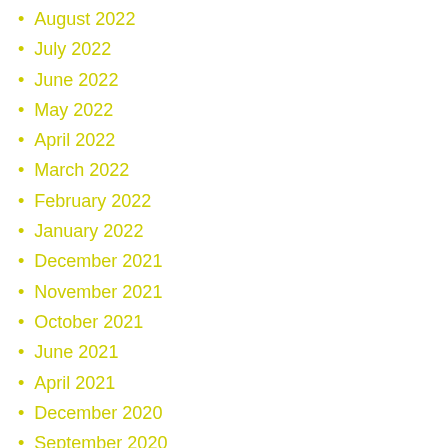August 2022
July 2022
June 2022
May 2022
April 2022
March 2022
February 2022
January 2022
December 2021
November 2021
October 2021
June 2021
April 2021
December 2020
September 2020
March 2020
February 2020
December 2019
October 2019